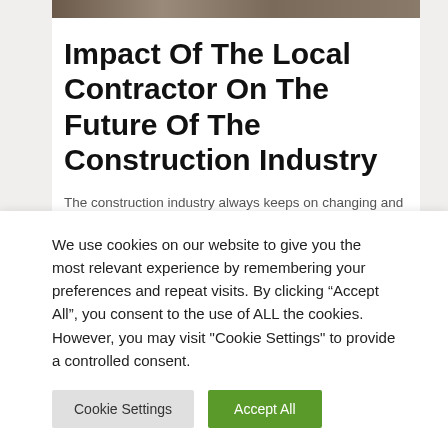[Figure (photo): Top portion of a construction-related photograph, cropped to a thin strip at the top of the page.]
Impact Of The Local Contractor On The Future Of The Construction Industry
The construction industry always keeps on changing and evolving with time. Different things keep on coming in this industry. You will get to see new technology that focuses on fastening the process and making it more sustainable. Different companies will help you in building your dream
We use cookies on our website to give you the most relevant experience by remembering your preferences and repeat visits. By clicking “Accept All”, you consent to the use of ALL the cookies. However, you may visit "Cookie Settings" to provide a controlled consent.